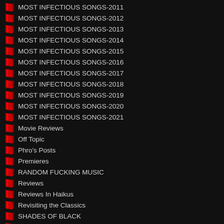MOST INFECTIOUS SONGS-2011
MOST INFECTIOUS SONGS-2012
MOST INFECTIOUS SONGS-2013
MOST INFECTIOUS SONGS-2014
MOST INFECTIOUS SONGS-2015
MOST INFECTIOUS SONGS-2016
MOST INFECTIOUS SONGS-2017
MOST INFECTIOUS SONGS-2018
MOST INFECTIOUS SONGS-2019
MOST INFECTIOUS SONGS-2020
MOST INFECTIOUS SONGS-2021
Movie Reviews
Off Topic
Phro's Posts
Premieres
RANDOM FUCKING MUSIC
Reviews
Reviews In Haikus
Revisiting the Classics
SHADES OF BLACK
SHORT BUT SWEET